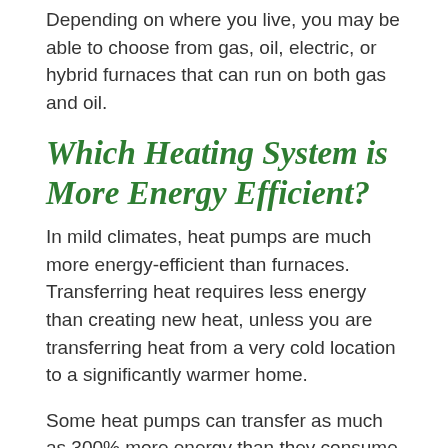Depending on where you live, you may be able to choose from gas, oil, electric, or hybrid furnaces that can run on both gas and oil.
Which Heating System is More Energy Efficient?
In mild climates, heat pumps are much more energy-efficient than furnaces. Transferring heat requires less energy than creating new heat, unless you are transferring heat from a very cold location to a significantly warmer home.
Some heat pumps can transfer as much as 300% more energy than they consume under ideal conditions. The highest efficiency furnaces can only approach 100% efficiency since the energy they consume is used to